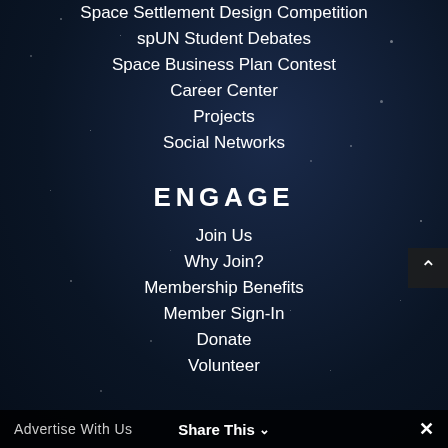Space Settlement Design Competition
spUN Student Debates
Space Business Plan Contest
Career Center
Projects
Social Networks
ENGAGE
Join Us
Why Join?
Membership Benefits
Member Sign-In
Donate
Volunteer
Advertise With Us   Share This   ✕